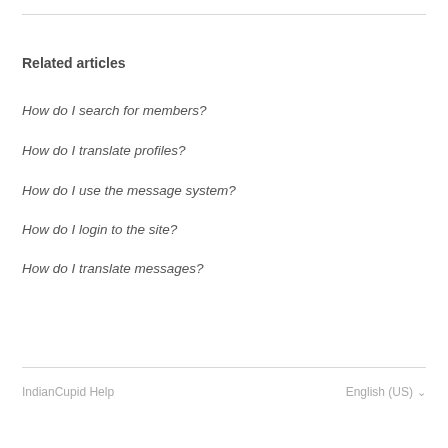Related articles
How do I search for members?
How do I translate profiles?
How do I use the message system?
How do I login to the site?
How do I translate messages?
IndianCupid Help
English (US)